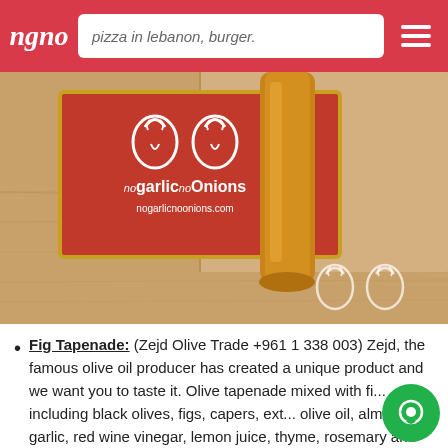pizza in lebanon, burger.
[Figure (photo): Photo showing a nogarlic noOnions branded box with logo and website URL nogarlicnoonions.com, next to a glass bottle containing an amber-colored liquid (olive oil/tapenade), on a wooden surface. White garlic logo watermark visible at bottom right.]
Fig Tapenade: (Zejd Olive Trade +961 1 338 003) Zejd, the famous olive oil producer has created a unique product and we want you to taste it. Olive tapenade mixed with fi... including black olives, figs, capers, ext... olive oil, almonds, garlic, red wine vinegar, lemon juice, thyme, rosemary and black...